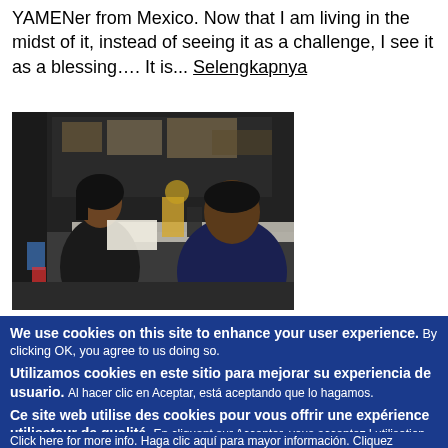YAMENer from Mexico. Now that I am living in the midst of it, instead of seeing it as a challenge, I see it as a blessing…. It is... Selengkapnya
[Figure (photo): Two people sitting across from each other at a table with papers and supplies, appearing to be in a storage or community space.]
We use cookies on this site to enhance your user experience. By clicking OK, you agree to us doing so.

Utilizamos cookies en este sitio para mejorar su experiencia de usuario. Al hacer clic en Aceptar, está aceptando que lo hagamos.

Ce site web utilise des cookies pour vous offrir une expérience utilisateur de qualité. En cliquant sur Accepter, vous acceptez l utilisation des cookies.

Click here for more info. Haga clic aquí para mayor información. Cliquez